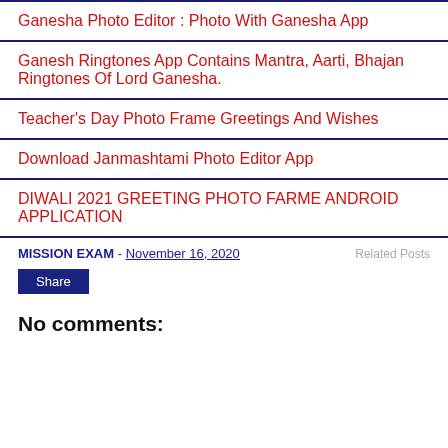Ganesha Photo Editor : Photo With Ganesha App
Ganesh Ringtones App Contains Mantra, Aarti, Bhajan Ringtones Of Lord Ganesha.
Teacher's Day Photo Frame Greetings And Wishes
Download Janmashtami Photo Editor App
DIWALI 2021 GREETING PHOTO FARME ANDROID APPLICATION
MISSION EXAM - November 16, 2020
Related Posts
Share
No comments: